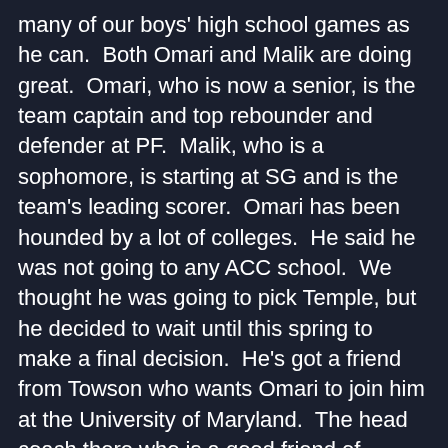many of our boys' high school games as he can.  Both Omari and Malik are doing great.  Omari, who is now a senior, is the team captain and top rebounder and defender at PF.  Malik, who is a sophomore, is starting at SG and is the team's leading scorer.  Omari has been hounded by a lot of colleges.  He said he was not going to any ACC school.  We thought he was going to pick Temple, but he decided to wait until this spring to make a final decision.  He's got a friend from Towson who wants Omari to join him at the University of Maryland.  The head coach there who is a good friend of Frederick is making some strong pitches as is the head coach at Bradley.  We'll just have to wait to see who he goes with.  Malik wants him to choose Providence so we can go to his home games.  Devany is now a 4th grader and a soccer natural, but I'm hoping the focuses more on her ballet and piano.